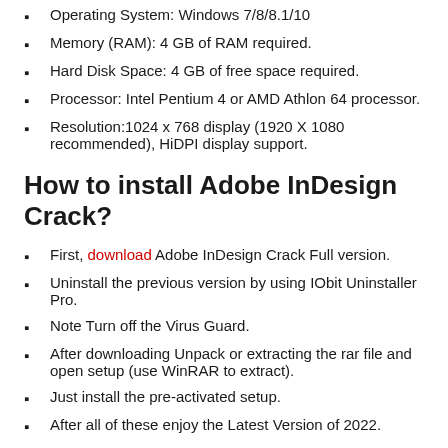Operating System: Windows 7/8/8.1/10
Memory (RAM): 4 GB of RAM required.
Hard Disk Space: 4 GB of free space required.
Processor: Intel Pentium 4 or AMD Athlon 64 processor.
Resolution:1024 x 768 display (1920 X 1080 recommended), HiDPI display support.
How to install Adobe InDesign Crack?
First, download Adobe InDesign Crack Full version.
Uninstall the previous version by using IObit Uninstaller Pro.
Note Turn off the Virus Guard.
After downloading Unpack or extracting the rar file and open setup (use WinRAR to extract).
Just install the pre-activated setup.
After all of these enjoy the Latest Version of 2022.